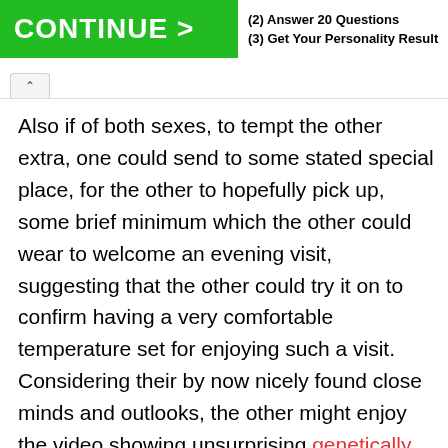CONTINUE > (2) Answer 20 Questions (3) Get Your Personality Result
Also if of both sexes, to tempt the other extra, one could send to some stated special place, for the other to hopefully pick up, some brief minimum which the other could wear to welcome an evening visit, suggesting that the other could try it on to confirm having a very comfortable temperature set for enjoying such a visit. Considering their by now nicely found close minds and outlooks, the other might enjoy the video showing unsurprising genetically refined good attractiveness. Or if the other maybe didn't quite seem interested enough, then no need to inconveniently waste any time for any such visit at some distance away, even fully